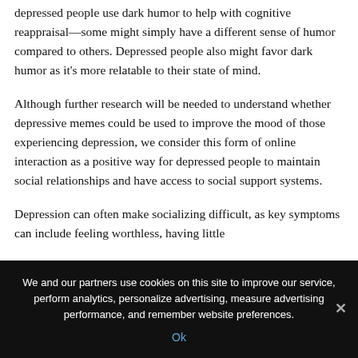depressed people use dark humor to help with cognitive reappraisal—some might simply have a different sense of humor compared to others. Depressed people also might favor dark humor as it's more relatable to their state of mind.
Although further research will be needed to understand whether depressive memes could be used to improve the mood of those experiencing depression, we consider this form of online interaction as a positive way for depressed people to maintain social relationships and have access to social support systems.
Depression can often make socializing difficult, as key symptoms can include feeling worthless, having little
We and our partners use cookies on this site to improve our service, perform analytics, personalize advertising, measure advertising performance, and remember website preferences.
Ok